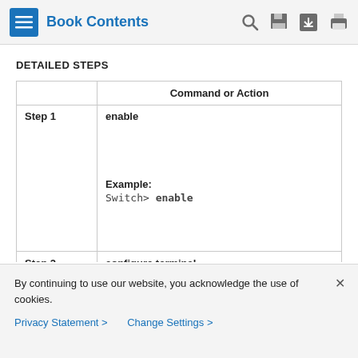Book Contents
DETAILED STEPS
|  | Command or Action |
| --- | --- |
| Step 1 | enable

Example:
Switch> enable |
| Step 2 | configure terminal |
By continuing to use our website, you acknowledge the use of cookies.
Privacy Statement > Change Settings >